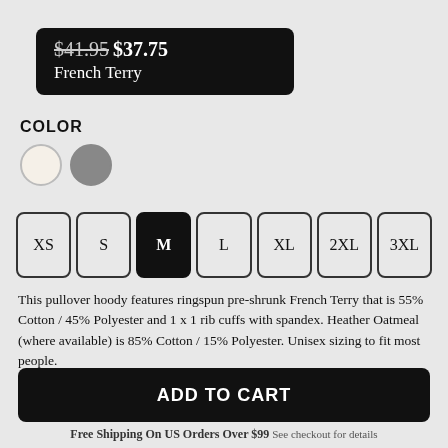$41.95 $37.75 French Terry
COLOR
Sizes: XS, S, M, L, XL, 2XL, 3XL
This pullover hoody features ringspun pre-shrunk French Terry that is 55% Cotton / 45% Polyester and 1 x 1 rib cuffs with spandex. Heather Oatmeal (where available) is 85% Cotton / 15% Polyester. Unisex sizing to fit most people.
More Product Information & Size Chart
ADD TO CART
Free Shipping On US Orders Over $99 See checkout for details